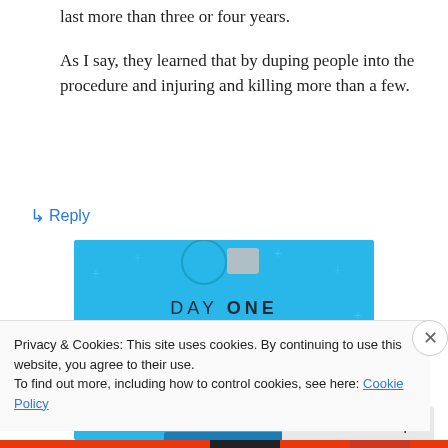last more than three or four years.
As I say, they learned that by duping people into the procedure and injuring and killing more than a few.
↳ Reply
[Figure (illustration): Day One journaling app advertisement on blue background with text 'DAY ONE - The only journaling app you'll ever need.']
Privacy & Cookies: This site uses cookies. By continuing to use this website, you agree to their use.
To find out more, including how to control cookies, see here: Cookie Policy
Close and accept